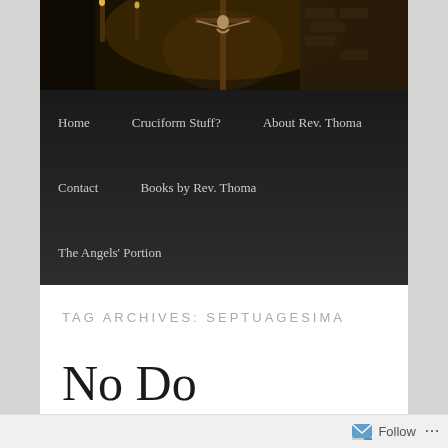[Figure (photo): Dark photo of a crucifix/church interior with warm candle lighting, cross and figure visible against brick background]
Home   Cruciform Stuff?   About Rev. Thoma   Contact   Books by Rev. Thoma   The Angels' Portion
TAG ARCHIVES: SEPTUAGESIMA
No Do
Follow